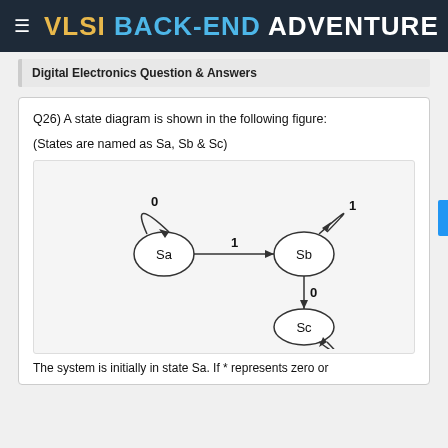VLSI BACK-END ADVENTURE
Digital Electronics Question & Answers
Q26) A state diagram is shown in the following figure:

(States are named as Sa, Sb & Sc)
[Figure (flowchart): State diagram with three states Sa, Sb, Sc. Sa has a self-loop labeled 0. There is a transition from Sa to Sb labeled 1. Sb has a self-loop labeled 1. There is a transition from Sb to Sc labeled 0. Sc has a self-loop labeled 0.]
The system is initially in state Sa. If * represents zero or